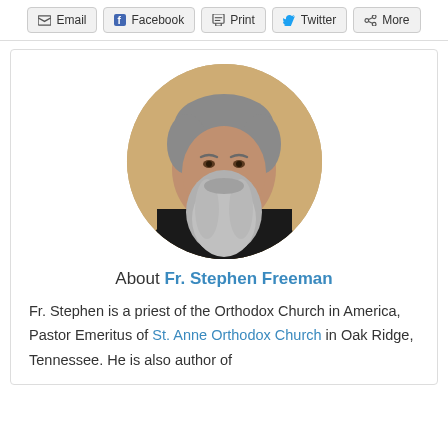Email  Facebook  Print  Twitter  More
[Figure (photo): Circular portrait photo of Fr. Stephen Freeman, a man with grey hair and a long grey beard wearing a black garment, set against a warm sandy/golden blurred background.]
About Fr. Stephen Freeman
Fr. Stephen is a priest of the Orthodox Church in America, Pastor Emeritus of St. Anne Orthodox Church in Oak Ridge, Tennessee. He is also author of